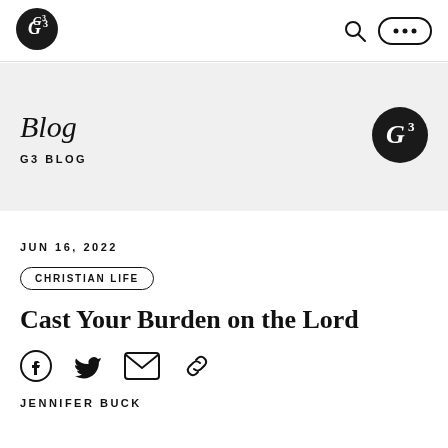[Figure (logo): G3 logo - white G3 text on black circle in navigation bar]
[Figure (logo): Search icon and menu (ellipsis) button in navigation bar]
Blog
G3 BLOG
[Figure (logo): G3 logo - white G3 text on black circle in blog band]
JUN 16, 2022
CHRISTIAN LIFE
Cast Your Burden on the Lord
[Figure (illustration): Social share icons: Facebook, Twitter, Email, Link]
JENNIFER BUCK